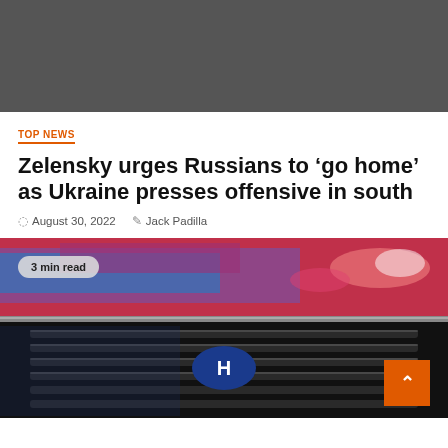[Figure (photo): Dark gray banner image at the top of the page, likely a placeholder or advertisement area]
TOP NEWS
Zelensky urges Russians to ‘go home’ as Ukraine presses offensive in south
© August 30, 2022   ✏ Jack Padilla
[Figure (photo): Close-up photo of a red/pink car hood with blue/purple reflections and a chrome car grille with a Honda logo badge. A '3 min read' badge overlays the top-left corner. An orange scroll-to-top button is in the bottom-right.]